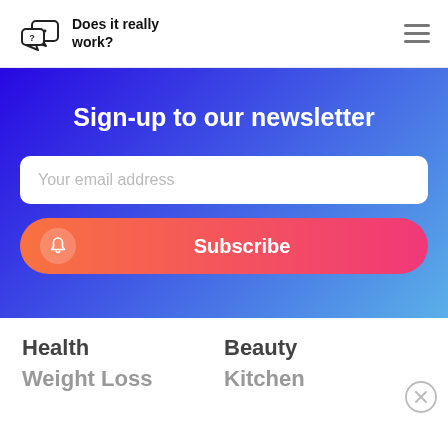Does it really work?
Sign-up to our newsletter
Your email address
Subscribe
Health
Beauty
Weight Loss
Kitchen